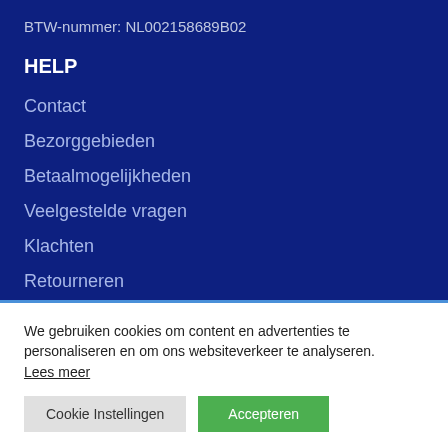BTW-nummer: NL002158689B02
HELP
Contact
Bezorggebieden
Betaalmogelijkheden
Veelgestelde vragen
Klachten
Retourneren
We gebruiken cookies om content en advertenties te personaliseren en om ons websiteverkeer te analyseren. Lees meer
Cookie Instellingen  Accepteren